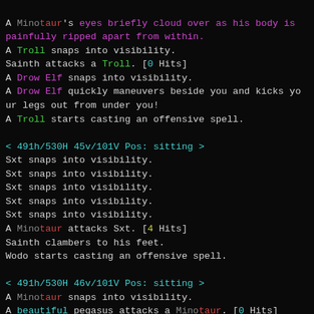A Minotaur's eyes briefly cloud over as his body is painfully ripped apart from within.
A Troll snaps into visibility.
Sainth attacks a Troll. [0 Hits]
A Drow Elf snaps into visibility.
A Drow Elf quickly maneuvers beside you and kicks your legs out from under you!
A Troll starts casting an offensive spell.

< 491h/530H 45v/101V Pos: sitting >
Sxt snaps into visibility.
Sxt snaps into visibility.
Sxt snaps into visibility.
Sxt snaps into visibility.
Sxt snaps into visibility.
A Minotaur attacks Sxt. [4 Hits]
Sainth clambers to his feet.
Wodo starts casting an offensive spell.

< 491h/530H 46v/101V Pos: sitting >
A Minotaur snaps into visibility.
A beautiful pegasus attacks a Minotaur. [0 Hits]
A Minotaur snaps into visibility.
Living stone sprouts up and covers a Minotaur's fles